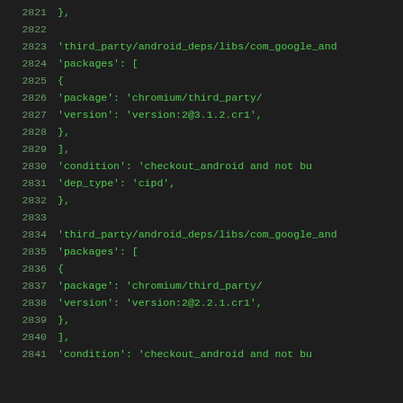Code listing lines 2821-2841, showing Python/JSON dependency configuration for third_party/android_deps/libs/com_google_and...